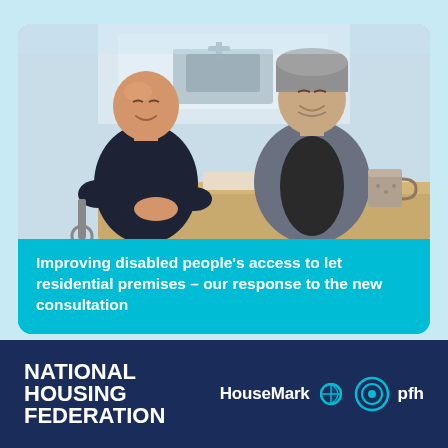[Figure (photo): Two men laughing and talking at a kitchen table. The man on the left is in a wheelchair wearing a dark top. The man on the right is wearing a grey jacket and beanie hat. There is a coffee mug on the table. Kitchen counter and sink visible in background.]
Improving disabled people's access to let residential premises – our response to the new consultation
[Figure (logo): National Housing Federation logo in white text on dark navy background, alongside HouseMark and pfh partner logos]